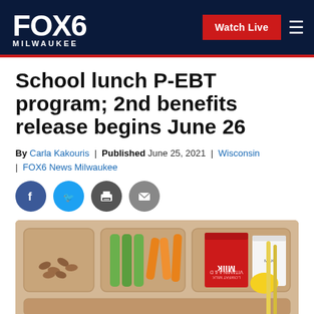FOX6 MILWAUKEE | Watch Live
School lunch P-EBT program; 2nd benefits release begins June 26
By Carla Kakouris | Published June 25, 2021 | Wisconsin | FOX6 News Milwaukee
[Figure (photo): School lunch tray with almonds, celery sticks, carrots, a red milk carton, and other food items]